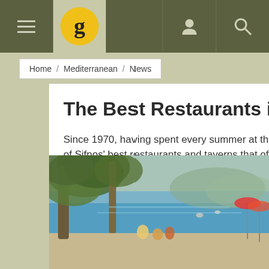Navigation bar with hamburger menu, Gault&Millau logo, user icon, and search icon
Home / Mediterranean / News
The Best Restaurants in Sif
Since 1970, having spent every summer at the of Sifnos' best restaurants and taverns that of
[Figure (photo): Beach scene with people sitting under large olive trees, turquoise sea and swimmers visible in the background, beach umbrellas on the right side]